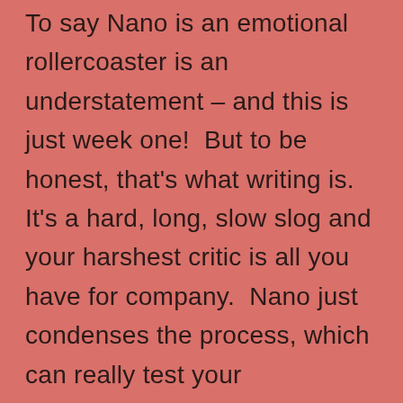To say Nano is an emotional rollercoaster is an understatement – and this is just week one!  But to be honest, that's what writing is.  It's a hard, long, slow slog and your harshest critic is all you have for company.  Nano just condenses the process, which can really test your commitment and your resolve, but it's also an amazing opportunity to get that awkward first draft down on paper.  I heard someone describing it as clay.  These 50,000 words are clay that can be moulded into a novel and for that,  Nano is a